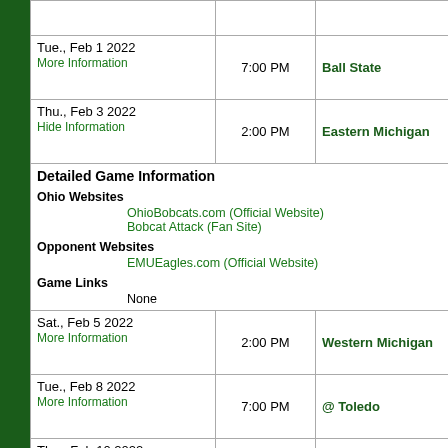| Date | Time | Opponent |
| --- | --- | --- |
| Tue., Feb 1 2022 / More Information | 7:00 PM | Ball State |
| Thu., Feb 3 2022 / Hide Information | 2:00 PM | Eastern Michigan |
| [Detailed Game Information expanded row] |  |  |
| Sat., Feb 5 2022 / More Information | 2:00 PM | Western Michigan |
| Tue., Feb 8 2022 / More Information | 7:00 PM | @ Toledo |
| Thu., Feb 10 2022 / More Information | 7:00 PM | @ Central Michigan |
| Sat., Feb 12 2022 / More Information | 3:30 PM | @ Eastern Michigan |